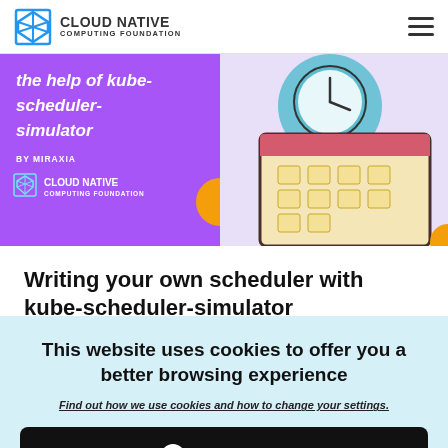CLOUD NATIVE COMPUTING FOUNDATION
[Figure (illustration): Hero banner with purple background on left showing text 'the help of kube-scheduler-simulator BY MIRAXIA' with Cloud Native Computing Foundation logo, and a calendar illustration on right with clock icon on colorful background]
Writing your own scheduler with kube-scheduler-simulator
This website uses cookies to offer you a better browsing experience
Find out how we use cookies and how to change your settings.
ACCEPT